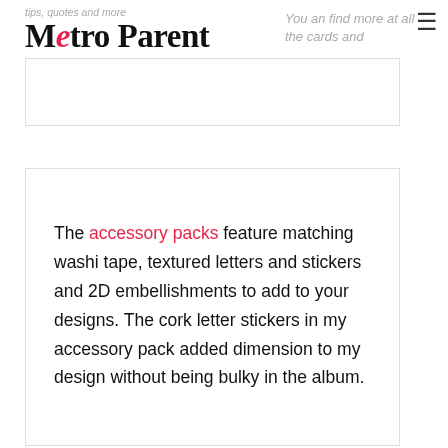Metro Parent
The accessory packs feature matching washi tape, textured letters and stickers and 2D embellishments to add to your designs. The cork letter stickers in my accessory pack added dimension to my design without being bulky in the album.